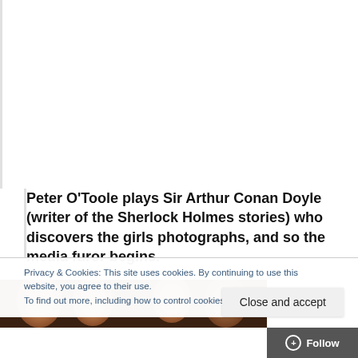Peter O'Toole plays Sir Arthur Conan Doyle (writer of the Sherlock Holmes stories) who discovers the girls photographs, and so the media furor begins.
Privacy & Cookies: This site uses cookies. By continuing to use this website, you agree to their use.
To find out more, including how to control cookies, see here: Cookie Policy
[Figure (photo): Partial view of a dark photograph showing faces at the bottom of the page]